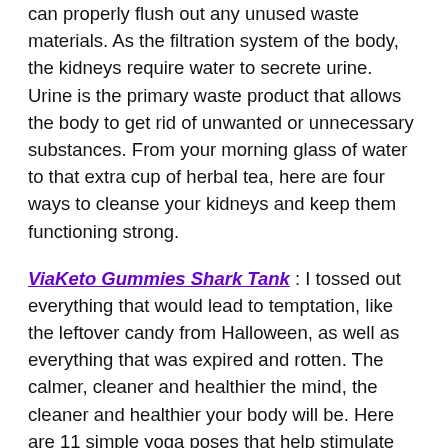can properly flush out any unused waste materials. As the filtration system of the body, the kidneys require water to secrete urine. Urine is the primary waste product that allows the body to get rid of unwanted or unnecessary substances. From your morning glass of water to that extra cup of herbal tea, here are four ways to cleanse your kidneys and keep them functioning strong.
ViaKeto Gummies Shark Tank: I tossed out everything that would lead to temptation, like the leftover candy from Halloween, as well as everything that was expired and rotten. The calmer, cleaner and healthier the mind, the cleaner and healthier your body will be. Here are 11 simple yoga poses that help stimulate our natural cleansing systems.
https://healthyminimarket.com/viaketo-gummies-reviews/